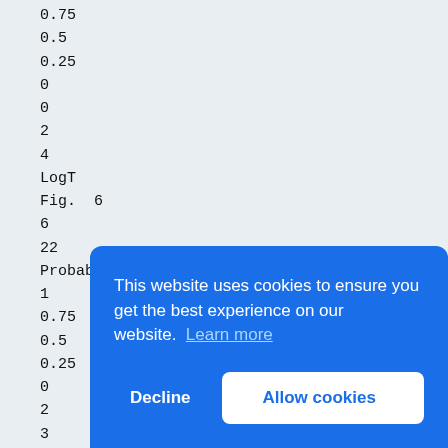0.75
0.5
0.25
0
0
2
4
LogT
Fig. 6
6
22
Probability of failure
1
0.75
0.5
0.25
0
2
3
4
LogN
Fig. 5
23
Prob
1
0.75
0.5
0.25
0
3
4
5
[Figure (screenshot): Cookie consent banner overlay on a webpage with blue background. Text reads 'This website uses cookies to ensure you get the best experience on our website. Learn more' with 'Decline' and 'Allow cookies' buttons.]